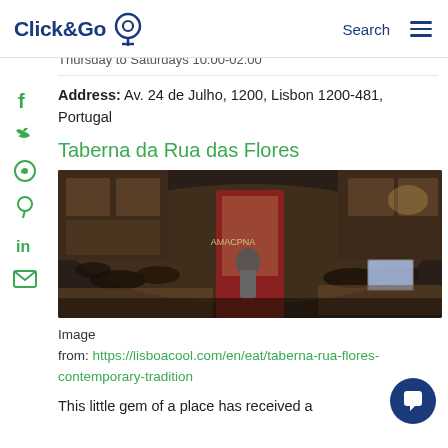Click&Go [logo] Search [menu]
Thursday to Saturdays 10:00-02:00
Address: Av. 24 de Julho, 1200, Lisbon 1200-481, Portugal
Taberna da Rua das Flores
[Figure (photo): Interior of Taberna da Rua das Flores restaurant showing patrons seated at tables, warm lighting, wooden cabinets, and a central doorway entrance]
Image from: https://lisboacool.com/en/eat/taberna-rua-flores-contemporary-tradition
This little gem of a place has received a